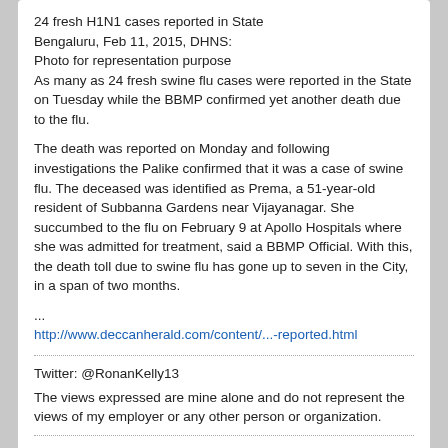24 fresh H1N1 cases reported in State
Bengaluru, Feb 11, 2015, DHNS:
Photo for representation purpose
As many as 24 fresh swine flu cases were reported in the State on Tuesday while the BBMP confirmed yet another death due to the flu.

The death was reported on Monday and following investigations the Palike confirmed that it was a case of swine flu. The deceased was identified as Prema, a 51-year-old resident of Subbanna Gardens near Vijayanagar. She succumbed to the flu on February 9 at Apollo Hospitals where she was admitted for treatment, said a BBMP Official. With this, the death toll due to swine flu has gone up to seven in the City, in a span of two months.
...
http://www.deccanherald.com/content/...-reported.html
Twitter: @RonanKelly13
The views expressed are mine alone and do not represent the views of my employer or any other person or organization.
tetano
Editor, Senior Moderator
Join Date: Dec 2009   Posts: 87727